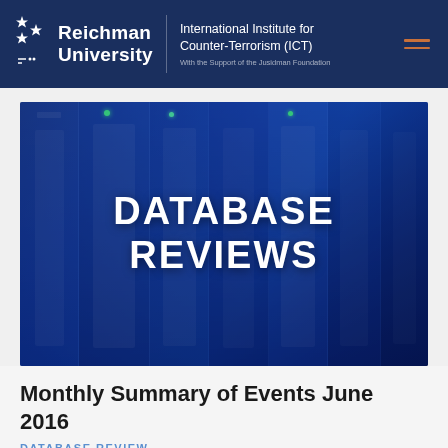Reichman University — International Institute for Counter-Terrorism (ICT) — With the Support of the Jusidman Foundation
[Figure (illustration): Blue-toned server rack image with bold white text overlay reading DATABASE REVIEWS]
Monthly Summary of Events June 2016
DATABASE REVIEW